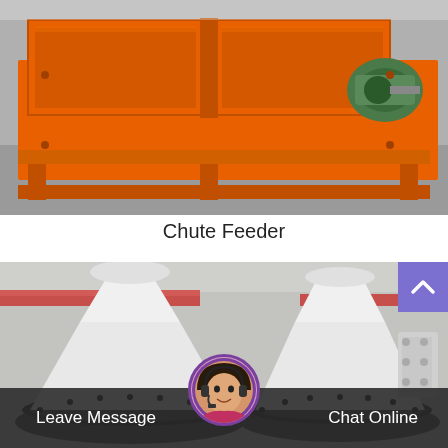[Figure (photo): Photograph of an orange industrial Chute Feeder machine with metal frame, hopper sections, and green motor/gearbox assembly, photographed outdoors on a concrete surface.]
Chute Feeder
[Figure (photo): Photograph of large white industrial cone crushers or similar heavy machinery with black gear rings, photographed inside a factory/warehouse with red overhead crane beams visible.]
Leave Message
Chat Online